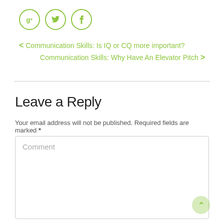[Figure (other): Social sharing icons: Google+, Twitter, Facebook — circular outlined icons in green]
< Communication Skills: Is IQ or CQ more important?
Communication Skills: Why Have An Elevator Pitch >
Leave a Reply
Your email address will not be published. Required fields are marked *
Comment